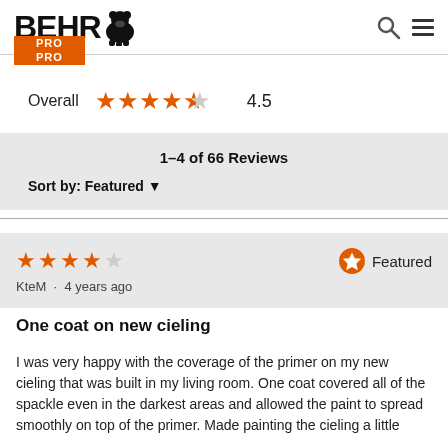[Figure (logo): BEHR PRO logo with bear icon and orange PRO bar]
Overall 4.5 (4.5 star rating shown with filled and half star)
1–4 of 66 Reviews
Sort by: Featured
★★★★☆ KteM · 4 years ago    ⭐ Featured
One coat on new cieling
I was very happy with the coverage of the primer on my new cieling that was built in my living room. One coat covered all of the spackle even in the darkest areas and allowed the paint to spread smoothly on top of the primer. Made painting the cieling a little